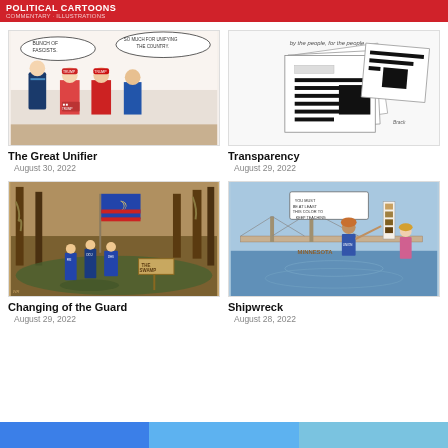POLITICAL CARTOONS
[Figure (illustration): Political cartoon showing Biden calling Trump supporters 'Bunch of Fascists' while Trump supporters in MAGA hats say 'So much for unifying the country.']
The Great Unifier
August 30, 2022
[Figure (illustration): Political cartoon showing stacked redacted government documents with the text 'by the people, for the people' at the top.]
Transparency
August 29, 2022
[Figure (illustration): Political cartoon showing FBI and DOJ figures raising a different American flag in a swamp, with a sign reading 'The Swamp'.]
Changing of the Guard
August 29, 2022
[Figure (illustration): Political cartoon showing a figure in front of a height chart reading 'You must be at least this color to keep teaching' with another figure watching, labeled Minnesota.]
Shipwreck
August 28, 2022